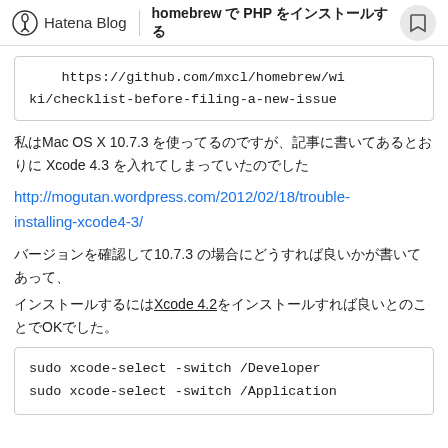Hatena Blog | homebrew で PHP をインストールする
https://github.com/mxcl/homebrew/wiki/checklist-before-filing-a-new-issue
私はMac OS X 10.7.3 を使ってるのですが、記事に書いてあるとおりに Xcode 4.3 を入れてしまっていたのでした
http://mogutan.wordpress.com/2012/02/18/trouble-installing-xcode4-3/
バージョンを確認して10.7.3 の場合にどうすれば良いかが書いてあって、Xcode 4.2をインストールすれば良いとのことでOKでした。
sudo xcode-select -switch /Developer
sudo xcode-select -switch /Application